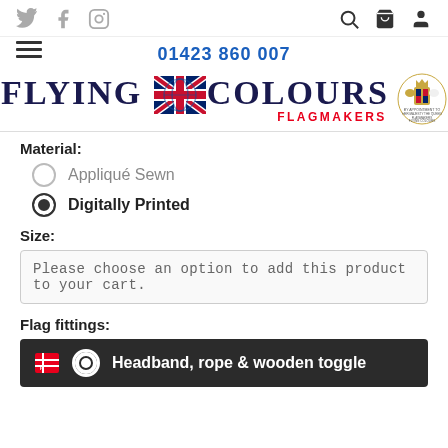Social icons: Twitter, Facebook, Instagram | Search, Bag, Account icons
01423 860 007
[Figure (logo): Flying Colours Flagmakers logo with Union Jack flag imagery and Royal Warrant crest]
Material:
Appliqué Sewn (radio button, unselected)
Digitally Printed (radio button, selected)
Size:
Please choose an option to add this product to your cart.
Flag fittings:
Headband, rope & wooden toggle